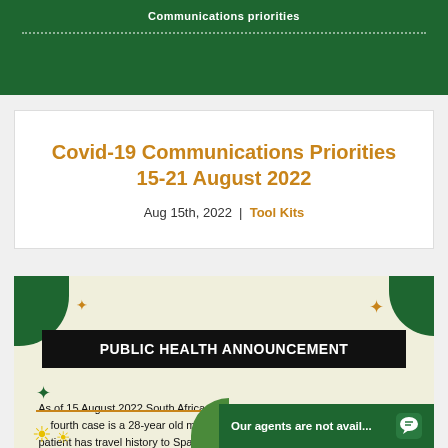Communications priorities
Covid-19 Communications Priorities 15-21 August 2022
Aug 15th, 2022 | Tool Kits
[Figure (infographic): Public Health Announcement infographic with cream background, green corner decorations, gold and green cross/plus decorations, black banner reading PUBLIC HEALTH ANNOUNCEMENT, body text about Monkeypox cases in South Africa, gold dividing line, sun and leaf decorations, and green chat widget at bottom right reading 'Our agents are not avail...']
As of 15 August 2022 South Africa has recorded 4 cases of Monkeypox. The fourth case is a 28-year old male from the Western Cape Province. The patient has travel history to Spain and returned to South Africa in the second week of August 2022. The previous three cases have recovered.